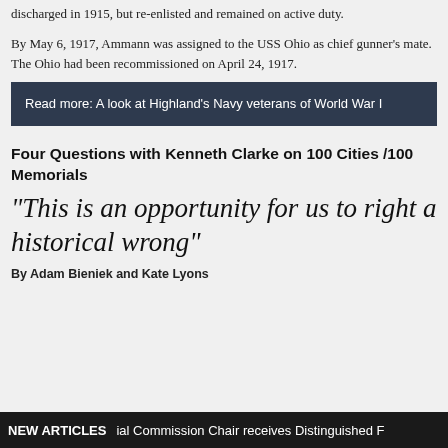discharged in 1915, but re-enlisted and remained on active duty.
By May 6, 1917, Ammann was assigned to the USS Ohio as chief gunner's mate. The Ohio had been recommissioned on April 24, 1917.
Read more: A look at Highland's Navy veterans of World War I
Four Questions with Kenneth Clarke on 100 Cities /100 Memorials
"This is an opportunity for us to right a historical wrong"
By Adam Bieniek and Kate Lyons
NEW ARTICLES   ial Commission Chair receives Distinguished F